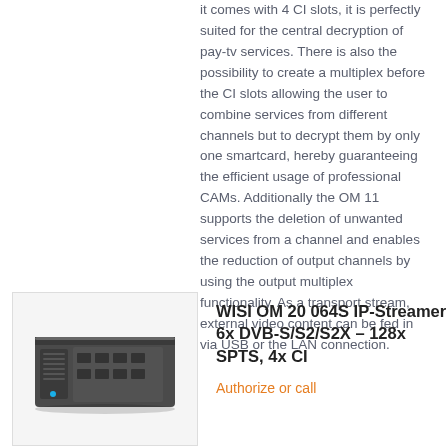it comes with 4 CI slots, it is perfectly suited for the central decryption of pay-tv services. There is also the possibility to create a multiplex before the CI slots allowing the user to combine services from different channels but to decrypt them by only one smartcard, hereby guaranteeing the efficient usage of professional CAMs. Additionally the OM 11 supports the deletion of unwanted services from a channel and enables the reduction of output channels by using the output multiplex functionality. As a transport stream, external video content can be fed in via USB or the LAN connection.
[Figure (photo): Photo of WISI OM 20 064S IP-Streamer device, a small black hardware unit with connectors]
WISI OM 20 064S IP-Streamer 6x DVB-S/S2/S2X – 128x SPTS, 4x CI
Authorize or call